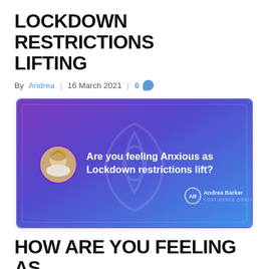LOCKDOWN RESTRICTIONS LIFTING
By Andrea | 16 March 2021 | 0
[Figure (screenshot): Video thumbnail with purple-to-blue gradient background showing a woman's circular portrait photo and text 'Are you feeling Anxious as Lockdown restrictions lift?' with Andrea Barker Confidence Coach branding]
HOW ARE YOU FEELING AS